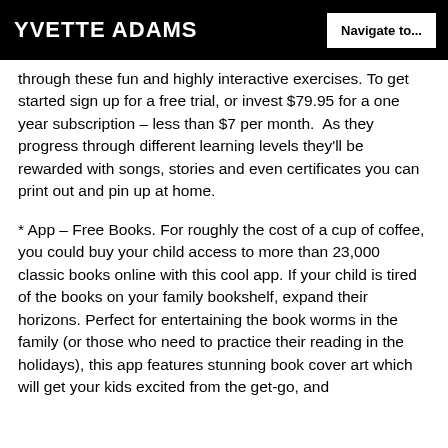YVETTE ADAMS | Navigate to...
through these fun and highly interactive exercises. To get started sign up for a free trial, or invest $79.95 for a one year subscription – less than $7 per month.  As they progress through different learning levels they'll be rewarded with songs, stories and even certificates you can print out and pin up at home.
* App – Free Books. For roughly the cost of a cup of coffee, you could buy your child access to more than 23,000 classic books online with this cool app. If your child is tired of the books on your family bookshelf, expand their horizons. Perfect for entertaining the book worms in the family (or those who need to practice their reading in the holidays), this app features stunning book cover art which will get your kids excited from the get-go, and